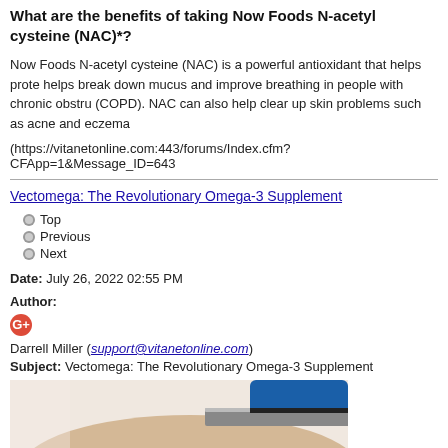What are the benefits of taking Now Foods N-acetyl cysteine (NAC)*?
Now Foods N-acetyl cysteine (NAC) is a powerful antioxidant that helps prote... helps break down mucus and improve breathing in people with chronic obstru... (COPD). NAC can also help clear up skin problems such as acne and eczema...
(https://vitanetonline.com:443/forums/Index.cfm?CFApp=1&Message_ID=643...
Vectomega: The Revolutionary Omega-3 Supplement
Top
Previous
Next
Date: July 26, 2022 02:55 PM
Author:
Darrell Miller (support@vitanetonline.com)
Subject: Vectomega: The Revolutionary Omega-3 Supplement
[Figure (photo): Close-up photo of a fish fillet being cut with a blue-handled knife, showing the flesh and skin of the fish.]